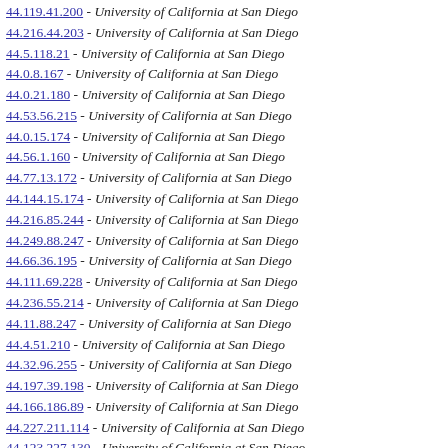44.119.41.200 - University of California at San Diego
44.216.44.203 - University of California at San Diego
44.5.118.21 - University of California at San Diego
44.0.8.167 - University of California at San Diego
44.0.21.180 - University of California at San Diego
44.53.56.215 - University of California at San Diego
44.0.15.174 - University of California at San Diego
44.56.1.160 - University of California at San Diego
44.77.13.172 - University of California at San Diego
44.144.15.174 - University of California at San Diego
44.216.85.244 - University of California at San Diego
44.249.88.247 - University of California at San Diego
44.66.36.195 - University of California at San Diego
44.111.69.228 - University of California at San Diego
44.236.55.214 - University of California at San Diego
44.11.88.247 - University of California at San Diego
44.4.51.210 - University of California at San Diego
44.32.96.255 - University of California at San Diego
44.197.39.198 - University of California at San Diego
44.166.186.89 - University of California at San Diego
44.227.211.114 - University of California at San Diego
44.123.227.130 - University of California at San Diego
44.30.41.200 - University of California at San Diego
44.121.130.33 - University of California at San Diego
44.199.25.184 - University of California at San Diego
8.34.113.16 - Level 3 Communications
44.229.107.10 - University of California at San Diego
44.229.47.206 - University of California at San Diego
44.56.29.188 - University of California at San Diego
44.220.225.128 - University of California at San Diego